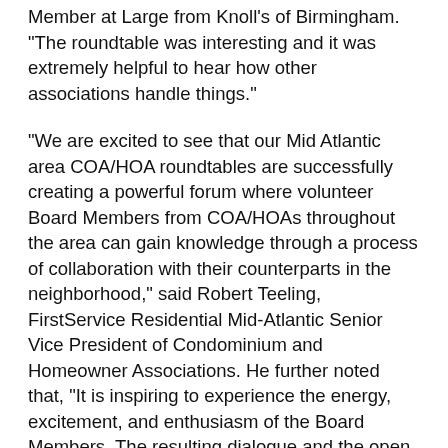Member at Large from Knoll's of Birmingham. "The roundtable was interesting and it was extremely helpful to hear how other associations handle things."
"We are excited to see that our Mid Atlantic area COA/HOA roundtables are successfully creating a powerful forum where volunteer Board Members from COA/HOAs throughout the area can gain knowledge through a process of collaboration with their counterparts in the neighborhood," said Robert Teeling, FirstService Residential Mid-Atlantic Senior Vice President of Condominium and Homeowner Associations. He further noted that, "It is inspiring to experience the energy, excitement, and enthusiasm of the Board Members. The resulting dialogue and the open sharing of best practices demonstrate the value our roundtables offer to participating Board Members."
The FirstService Residential educational best practice sharing roundtable series has been successfully held across the region including Philadelphia, New Jersey's